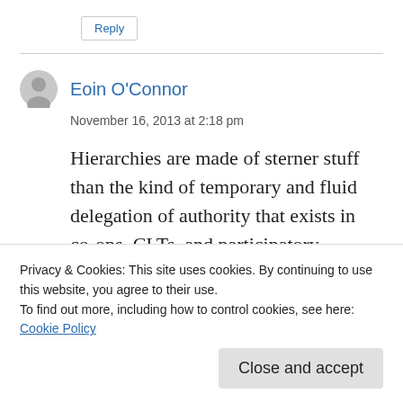Reply
Eoin O'Connor
November 16, 2013 at 2:18 pm
Hierarchies are made of sterner stuff than the kind of temporary and fluid delegation of authority that exists in co-ops, CLTs, and participatory...in which party A is subordinated to party
Privacy & Cookies: This site uses cookies. By continuing to use this website, you agree to their use.
To find out more, including how to control cookies, see here:
Cookie Policy
Close and accept